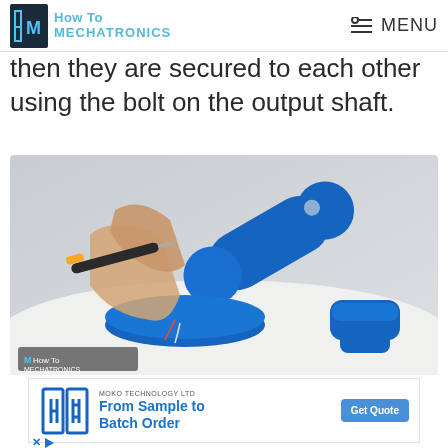How To Mechatronics | MENU
then they are secured to each other using the bolt on the output shaft.
[Figure (photo): Hands assembling a blue 3D-printed robotic arm joint onto a circular base with a screwdriver; blue 3D-printed parts visible on a white surface to the right. How To Mechatronics watermark visible in lower left.]
[Figure (infographic): MOKO TECHNOLOGY LTD advertisement banner: blue circuit/chip logo on left, 'From Sample to Batch Order' headline in blue, 'Get Quote' button in blue on right.]